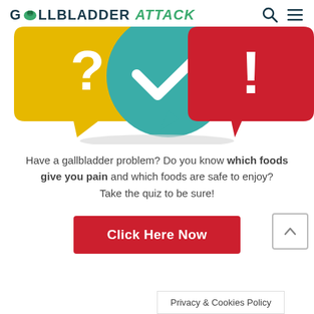GALLBLADDER Attack
[Figure (illustration): Three speech bubbles: yellow with question mark, teal with checkmark, red with exclamation mark, overlapping, on white background]
Have a gallbladder problem? Do you know which foods give you pain and which foods are safe to enjoy? Take the quiz to be sure!
[Figure (other): Red button with white text: Click Here Now]
Privacy & Cookies Policy